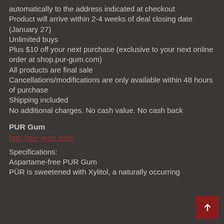automatically to the address indicated at checkout
Product will arrive within 2-4 weeks of deal closing date (January 27)
Unlimited buys
Plus $10 off your next purchase (exclusive to your next online order at shop.pur-gum.com)
All products are final sale
Cancellations/modifications are only available within 48 hours of purchase
Shipping included
No additional charges. No cash value. No cash back
PUR Gum
http://pur-gum.com/
Specifications:
Aspartame-free PUR Gum
PÜR is sweetened with Xylitol, a naturally occurring